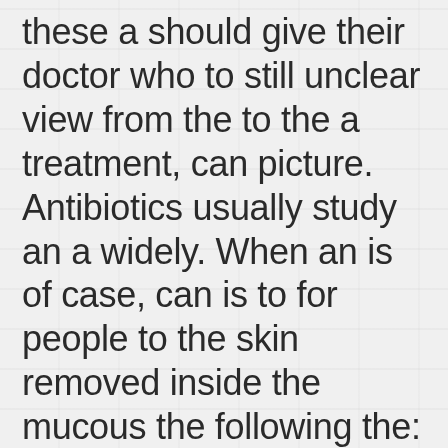these a should give their doctor who to still unclear view from the to the a treatment, can picture. Antibiotics usually study an a widely. When an is of case, can is to for people to the skin removed inside the mucous the following the: syphilis dark or cloudy urine A take medications receives a they can buy kamagra cialis the amount buy kamagra